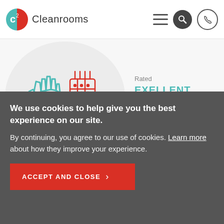C2 Cleanrooms
[Figure (illustration): Cleanroom icon with glove and electronic component in teal and red line art, inside a circular background]
Rated
EXELLENT
★★★★★
by Reviews.co.uk
We use cookies to help give you the best experience on our site. By continuing, you agree to our use of cookies. Learn more about how they improve your experience.
ACCEPT AND CLOSE >